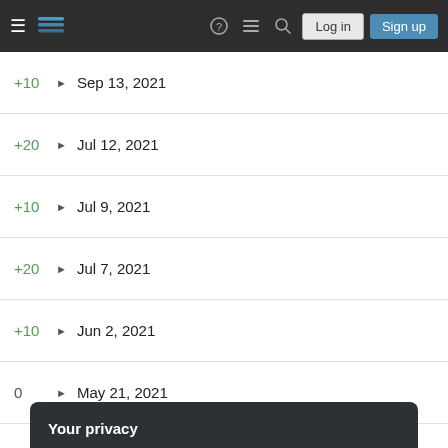Stack Exchange navigation bar with Log in and Sign up buttons
+10  ▶  Sep 13, 2021
+20  ▶  Jul 12, 2021
+10  ▶  Jul 9, 2021
+20  ▶  Jul 7, 2021
+10  ▶  Jun 2, 2021
0  ▶  May 21, 2021
Your privacy
By clicking "Accept all cookies", you agree Stack Exchange can store cookies on your device and disclose information in accordance with our Cookie Policy.
+10  ▶  Feb 24, 2021